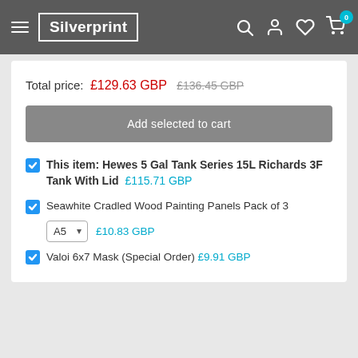Silverprint — navigation bar with hamburger menu, logo, search, account, wishlist, cart (0)
Total price: £129.63 GBP  £136.45 GBP
Add selected to cart
This item: Hewes 5 Gal Tank Series 15L Richards 3F Tank With Lid  £115.71 GBP
Seawhite Cradled Wood Painting Panels Pack of 3  A5  £10.83 GBP
Valoi 6x7 Mask (Special Order)  £9.91 GBP